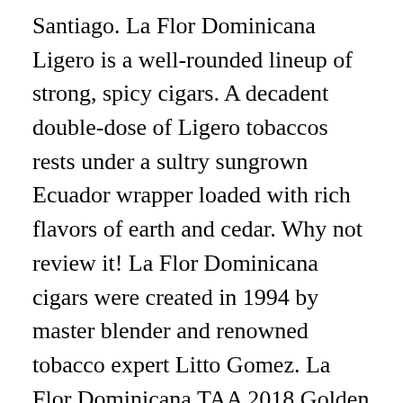Santiago. La Flor Dominicana Ligero is a well-rounded lineup of strong, spicy cigars. A decadent double-dose of Ligero tobaccos rests under a sultry sungrown Ecuador wrapper loaded with rich flavors of earth and cedar. Why not review it! La Flor Dominicana cigars were created in 1994 by master blender and renowned tobacco expert Litto Gomez. La Flor Dominicana TAA 2018 Golden Anniversary: 6 1/2 x 54 (Box Pressed Torpedo) La Flor Dominicana TAA 50th Segunda Edición Natural: 6 1/2 x 54 (Box Pressed Toro) Appearance. La Flor Dominicana Double Ligero Chisel is made in the Dominican Republic and the peculiarity of this format is the head that is similar to a Piramides size, but rather than ending with a